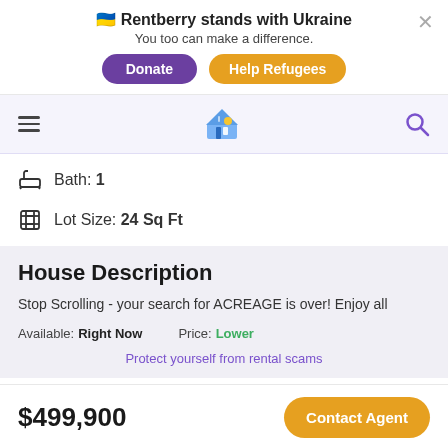🇺🇦 Rentberry stands with Ukraine
You too can make a difference.
Donate | Help Refugees
[Figure (screenshot): Rentberry navigation bar with hamburger menu, house logo, and search icon]
Bath: 1
Lot Size: 24 Sq Ft
House Description
Stop Scrolling - your search for ACREAGE is over! Enjoy all
Available: Right Now    Price: Lower
Protect yourself from rental scams
$499,900   Contact Agent